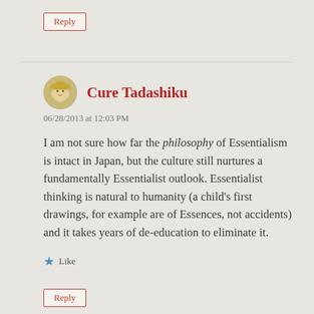Reply
Cure Tadashiku
06/28/2013 at 12:03 PM
I am not sure how far the philosophy of Essentialism is intact in Japan, but the culture still nurtures a fundamentally Essentialist outlook. Essentialist thinking is natural to humanity (a child's first drawings, for example are of Essences, not accidents) and it takes years of de-education to eliminate it.
Like
Reply